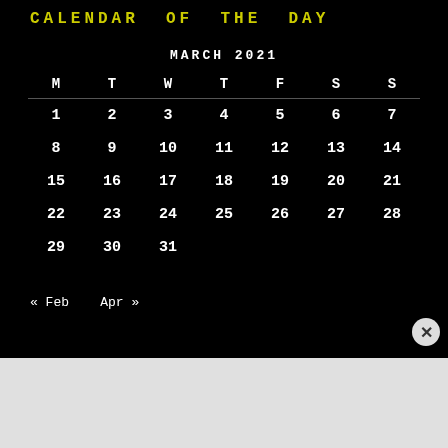CALENDAR OF THE DAY
| M | T | W | T | F | S | S |
| --- | --- | --- | --- | --- | --- | --- |
| 1 | 2 | 3 | 4 | 5 | 6 | 7 |
| 8 | 9 | 10 | 11 | 12 | 13 | 14 |
| 15 | 16 | 17 | 18 | 19 | 20 | 21 |
| 22 | 23 | 24 | 25 | 26 | 27 | 28 |
| 29 | 30 | 31 |  |  |  |  |
« Feb   Apr »
[Figure (screenshot): DuckDuckGo advertisement banner: 'Search, browse, and email with more privacy. All in One Free App' with DuckDuckGo logo on dark background]
Advertisements